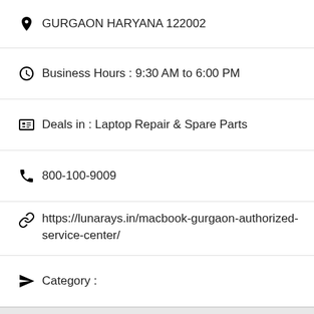GURGAON HARYANA 122002
Business Hours : 9:30 AM to 6:00 PM
Deals in : Laptop Repair & Spare Parts
800-100-9009
https://lunarays.in/macbook-gurgaon-authorized-service-center/
Category :
TRESOR SYSTEMS PVT LTD - Sector 6, Gurugram
Address:GF-11, TOWER-2, Worldmark Gurgaon